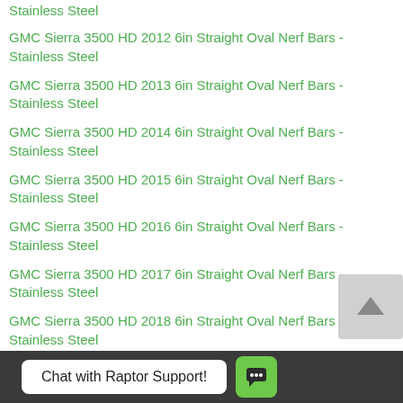Stainless Steel
GMC Sierra 3500 HD 2012 6in Straight Oval Nerf Bars - Stainless Steel
GMC Sierra 3500 HD 2013 6in Straight Oval Nerf Bars - Stainless Steel
GMC Sierra 3500 HD 2014 6in Straight Oval Nerf Bars - Stainless Steel
GMC Sierra 3500 HD 2015 6in Straight Oval Nerf Bars - Stainless Steel
GMC Sierra 3500 HD 2016 6in Straight Oval Nerf Bars - Stainless Steel
GMC Sierra 3500 HD 2017 6in Straight Oval Nerf Bars - Stainless Steel
GMC Sierra 3500 HD 2018 6in Straight Oval Nerf Bars - Stainless Steel
GMC Sierra 3500 HD 2019 6in Straight Oval Nerf Bars - Stainless Steel
Chat with Raptor Support!